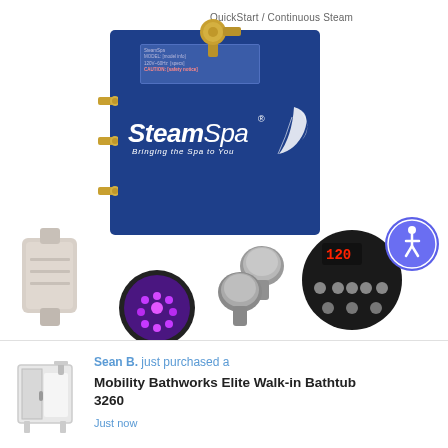[Figure (photo): Product photo of SteamSpa steam generator unit in navy blue with brass fittings and accessories including chromotherapy light, steam head outlets, and digital control panel. Text 'QuickStart / Continuous Steam' appears at top. SteamSpa brand logo with tagline 'Bringing the Spa to You' on the unit. Accessibility icon badge in top right of accessory area.]
Sean B.  just purchased a
Mobility Bathworks Elite Walk-in Bathtub 3260
Just now